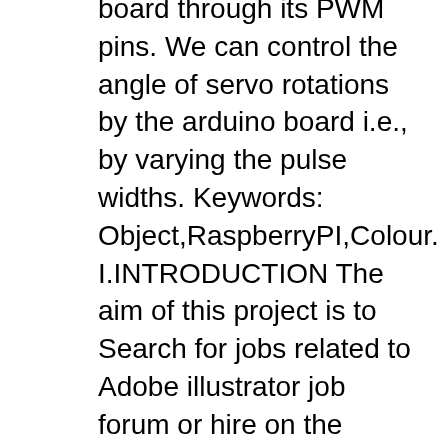board through its PWM pins. We can control the angle of servo rotations by the arduino board i.e., by varying the pulse widths. Keywords: Object,RaspberryPI,Colour. I.INTRODUCTION The aim of this project is to Search for jobs related to Adobe illustrator job forum or hire on the world's largest freelancing marketplace with 15m+ jobs. It's free to sign up and bid on jobs.
Each Package are Compatible with Adobe Illustrator CS3 & PDF. In this e-book you will find over 105 different kind of pockets for your girl garment and more than 88 different kind of pockets Front & Back for your boy’s